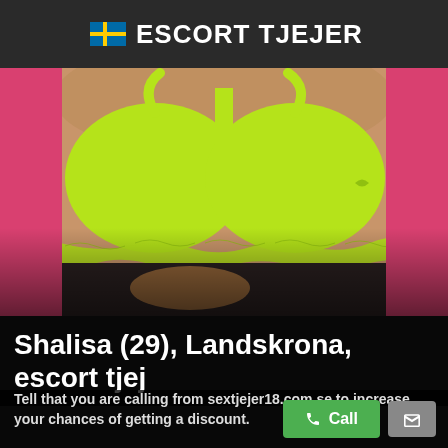ESCORT TJEJER
[Figure (photo): Close-up photo of a person wearing a neon yellow-green lace bra against a pink background, with black underwear visible at the bottom.]
Shalisa (29), Landskrona, escort tjej
Tell that you are calling from sextjejer18.com.se to increase your chances of getting a discount.